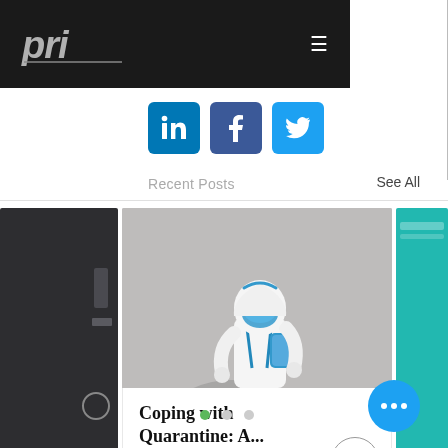PRI logo and navigation bar with hamburger menu
[Figure (logo): PRI logo in italic block letters on dark background]
[Figure (infographic): Social media icons: LinkedIn (blue square with 'in'), Facebook (blue square with 'f'), Twitter (blue square with bird icon)]
Recent Posts
See All
[Figure (photo): Person in white PPE hazmat suit walking on pavement, viewed from above at an angle, with shadow visible. Blue equipment/bag visible. Gray concrete background.]
Coping with Quarantine: A...
[Figure (other): Upward chevron arrow inside a circle (scroll-up button)]
[Figure (other): Three white dots in a blue circular FAB button]